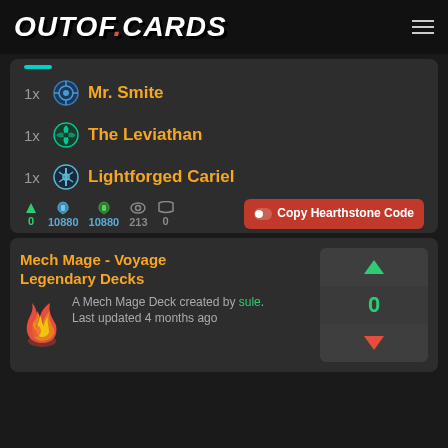OUTOF.CARDS
1x Mr. Smite
1x The Leviathan
1x Lightforged Cariel
0  10880  10880  213  0  Copy Hearthstone Code
Mech Mage - Voyage Legendary Decks
A Mech Mage Deck created by sule. Last updated 4 months ago